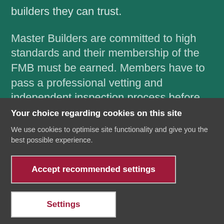builders they can trust.
Master Builders are committed to high standards and their membership of the FMB must be earned. Members have to pass a professional vetting and independent inspection process before joining to ensure they meet the high
Your choice regarding cookies on this site
We use cookies to optimise site functionality and give you the best possible experience.
Accept recommended settings
Settings